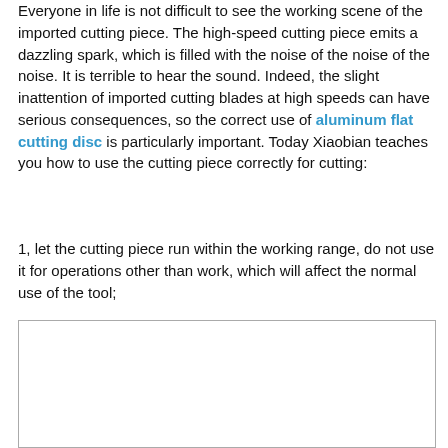Everyone in life is not difficult to see the working scene of the imported cutting piece. The high-speed cutting piece emits a dazzling spark, which is filled with the noise of the noise of the noise. It is terrible to hear the sound. Indeed, the slight inattention of imported cutting blades at high speeds can have serious consequences, so the correct use of aluminum flat cutting disc is particularly important. Today Xiaobian teaches you how to use the cutting piece correctly for cutting:
1, let the cutting piece run within the working range, do not use it for operations other than work, which will affect the normal use of the tool;
[Figure (photo): A rectangular image placeholder with a light border, content not visible (blank/white area).]